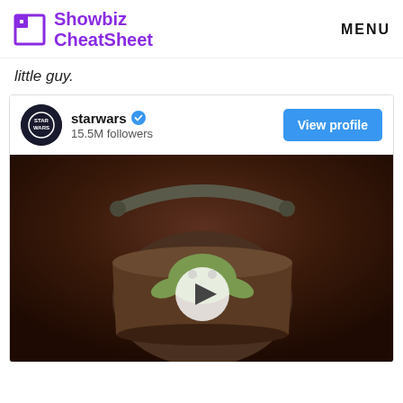Showbiz CheatSheet | MENU
little guy.
[Figure (screenshot): Instagram embed showing starwars account with 15.5M followers, View profile button, and a video thumbnail of Baby Yoda (The Child) sitting in a hovering pod/bucket with a play button overlay. Dark brownish background.]